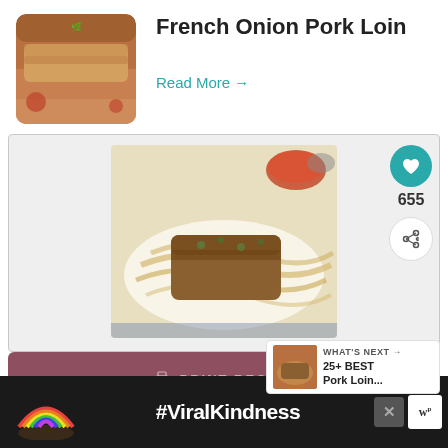[Figure (photo): Thumbnail photo of sliced French Onion Pork Loin with herbs and vegetables]
French Onion Pork Loin
Read More →
[Figure (photo): Food photo showing a pork loin on noodles/pasta with sauce and garnish, on a white plate]
655
PRINT RECIPE
WHAT'S NEXT → 25+ BEST Pork Loin...
[Figure (photo): #ViralKindness advertisement banner with rainbow illustration on dark background]